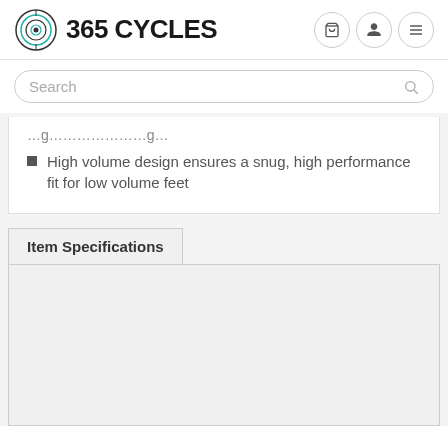365 CYCLES
Search
High volume design ensures a snug, high performance fit for low volume feet
Item Specifications